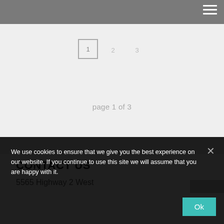Navigation bar with hamburger menu
page 1 of 3
CONTACT US
5565 Highway 2 West
We use cookies to ensure that we give you the best experience on our website. If you continue to use this site we will assume that you are happy with it.